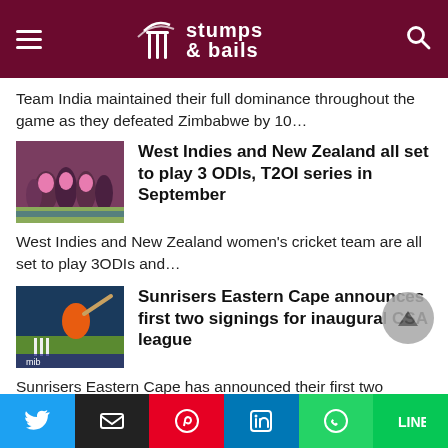Stumps & Bails
Team India maintained their full dominance throughout the game as they defeated Zimbabwe by 10…
[Figure (photo): West Indies women's cricket team players in pink jerseys huddled together on the field]
West Indies and New Zealand all set to play 3 ODIs, T2OI series in September
West Indies and New Zealand women's cricket team are all set to play 3ODIs and…
[Figure (photo): Sunrisers Eastern Cape cricket player in orange jersey hitting a ball]
Sunrisers Eastern Cape announces first two signings for inaugural CSA league
Sunrisers Eastern Cape has announced their first two signings for the inaugural edition of the…
[Figure (photo): Partial cricket team photo, partly visible]
Zimbabwe Amasses 189, India to
Twitter | Email | Pinterest | LinkedIn | WhatsApp | LINE